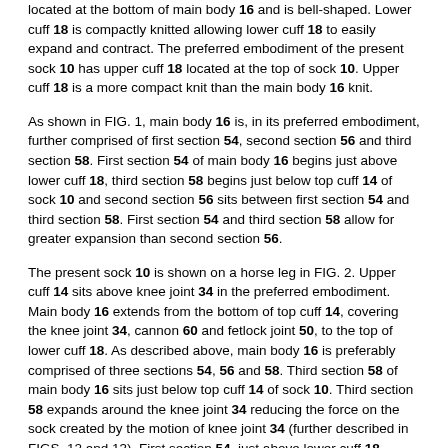located at the bottom of main body 16 and is bell-shaped. Lower cuff 18 is compactly knitted allowing lower cuff 18 to easily expand and contract. The preferred embodiment of the present sock 10 has upper cuff 18 located at the top of sock 10. Upper cuff 18 is a more compact knit than the main body 16 knit.
As shown in FIG. 1, main body 16 is, in its preferred embodiment, further comprised of first section 54, second section 56 and third section 58. First section 54 of main body 16 begins just above lower cuff 18, third section 58 begins just below top cuff 14 of sock 10 and second section 56 sits between first section 54 and third section 58. First section 54 and third section 58 allow for greater expansion than second section 56.
The present sock 10 is shown on a horse leg in FIG. 2. Upper cuff 14 sits above knee joint 34 in the preferred embodiment. Main body 16 extends from the bottom of top cuff 14, covering the knee joint 34, cannon 60 and fetlock joint 50, to the top of lower cuff 18. As described above, main body 16 is preferably comprised of three sections 54, 56 and 58. Third section 58 of main body 16 sits just below top cuff 14 of sock 10. Third section 58 expands around the knee joint 34 reducing the force on the sock created by the motion of knee joint 34 (further described in FIGS. 12 and 13). First section 54, just above lower cuff 18, expands around fetlock joint 50 and pastern 42 thereby reducing any force on sock 10 created by the motion of this joint. The expansion and reduction of force on sock 10 assists in